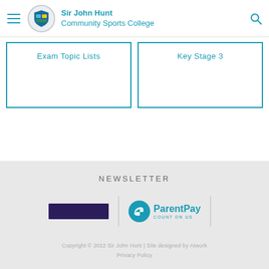Sir John Hunt Community Sports College
Exam Topic Lists
Key Stage 3
NEWSLETTER
[Figure (logo): Dark purple rectangular logo (obscured/redacted)]
[Figure (logo): ParentPay COUNT ON US logo with blue hand icon]
Copyright © 2022 Sir John Hunt | Site designed by Atwork Privacy Policy